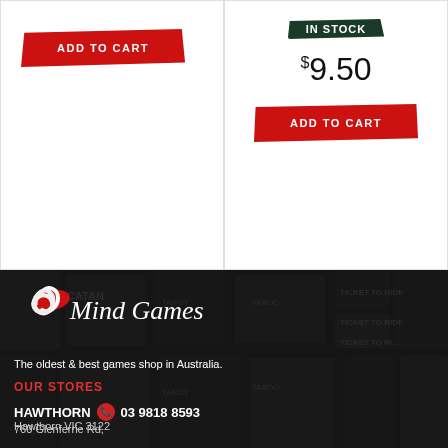[Figure (screenshot): Red brush-stroke styled ADD TO CART button on white background (left product card)]
[Figure (screenshot): IN STOCK badge, $9.50 price, and red brush-stroke ADD TO CART button on white background (right product card)]
[Figure (logo): Mind Games logo with Celtic knot and red brush stroke on dark background with board games]
The oldest & best games shop in Australia.
OUR STORES
HAWTHORN  03 9818 8593
760 Glenferrie Rd,
Hawthorn VIC 3122